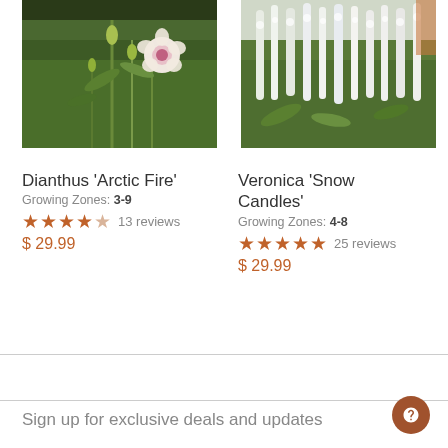[Figure (photo): Dianthus 'Arctic Fire' plant with small white and pink flower among green stems and buds]
Dianthus 'Arctic Fire'
Growing Zones: 3-9
★★★★☆ 13 reviews
$ 29.99
[Figure (photo): Veronica 'Snow Candles' plant with tall white spike flowers]
Veronica 'Snow Candles'
Growing Zones: 4-8
★★★★★ 25 reviews
$ 29.99
Sign up for exclusive deals and updates